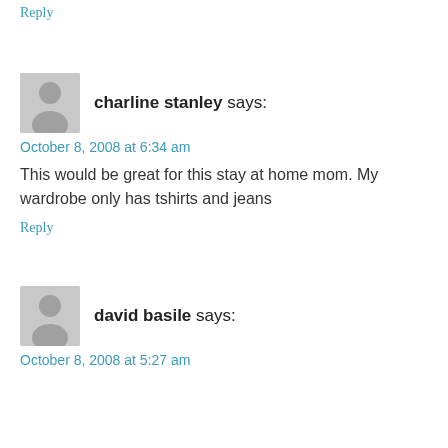Reply
[Figure (illustration): Default avatar placeholder image for charline stanley - grey silhouette of a person]
charline stanley says:
October 8, 2008 at 6:34 am
This would be great for this stay at home mom. My wardrobe only has tshirts and jeans
Reply
[Figure (illustration): Default avatar placeholder image for david basile - grey silhouette of a person]
david basile says:
October 8, 2008 at 5:27 am